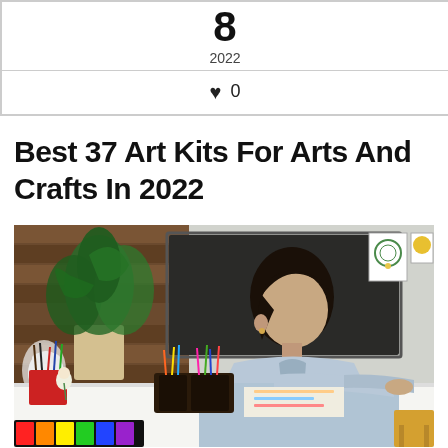| 8 | 2022 |
| ♥ 0 |
Best 37 Art Kits For Arts And Crafts In 2022
[Figure (photo): A woman with dark hair wearing a light blue shirt sits at a white desk in an art studio, reaching toward a dark organizer box filled with colored pens and art supplies. In the background are large green plants, a dark chalkboard, wooden wall panels, and colorful art prints on the wall. On the desk are red and orange containers with brushes, paint sets, and art materials.]